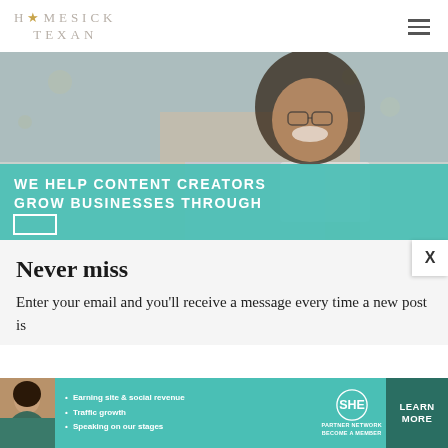HOMESICK TEXAN
[Figure (photo): Woman smiling with glasses holding a tablet, with teal overlay band reading WE HELP CONTENT CREATORS GROW BUSINESSES THROUGH]
Never miss
Enter your email and you'll receive a message every time a new post is
[Figure (infographic): SHE Partner Network advertisement banner with bullets: Earning site & social revenue, Traffic growth, Speaking on our stages. LEARN MORE button.]